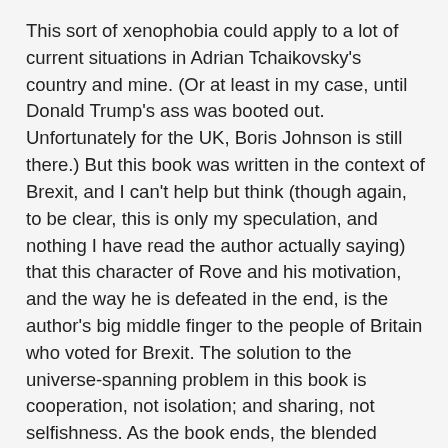This sort of xenophobia could apply to a lot of current situations in Adrian Tchaikovsky's country and mine. (Or at least in my case, until Donald Trump's ass was booted out. Unfortunately for the UK, Boris Johnson is still there.) But this book was written in the context of Brexit, and I can't help but think (though again, to be clear, this is only my speculation, and nothing I have read the author actually saying) that this character of Rove and his motivation, and the way he is defeated in the end, is the author's big middle finger to the people of Britain who voted for Brexit. The solution to the universe-spanning problem in this book is cooperation, not isolation; and sharing, not selfishness. As the book ends, the blended multiverse is opening up countless new possibilities for the people of Earth, and indeed the sapient inhabitants of all the Earths--possibilities that will, in the end, make life richer and better for all of them.
That's the final Big Idea of a story built on such, and it ties all the other ideas together in a pretty impressive bow. I'm sure some people will complain about this book's length and heft,